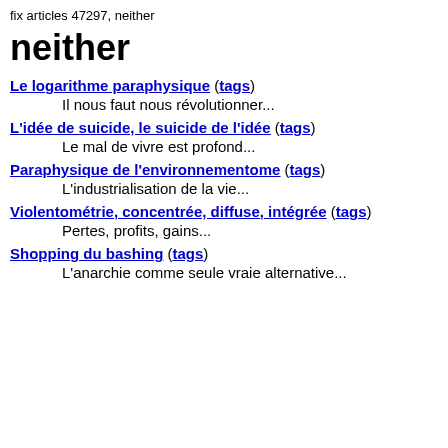fix articles 47297, neither
neither
Le logarithme paraphysique (tags)
Il nous faut nous révolutionner...
L'idée de suicide, le suicide de l'idée (tags)
Le mal de vivre est profond...
Paraphysique de l'environnementome (tags)
L'industrialisation de la vie...
Violentométrie, concentrée, diffuse, intégrée (tags)
Pertes, profits, gains...
Shopping du bashing (tags)
L'anarchie comme seule vraie alternative...